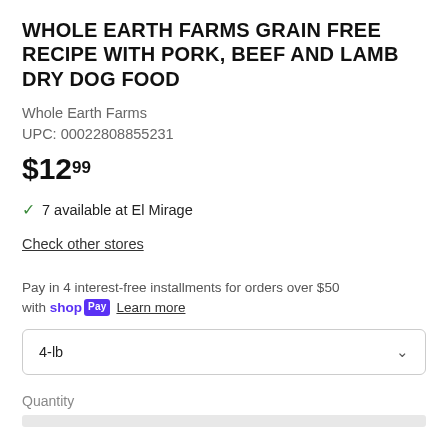WHOLE EARTH FARMS GRAIN FREE RECIPE WITH PORK, BEEF AND LAMB DRY DOG FOOD
Whole Earth Farms
UPC: 00022808855231
$12.99
✓ 7 available at El Mirage
Check other stores
Pay in 4 interest-free installments for orders over $50 with shop Pay  Learn more
4-lb
Quantity